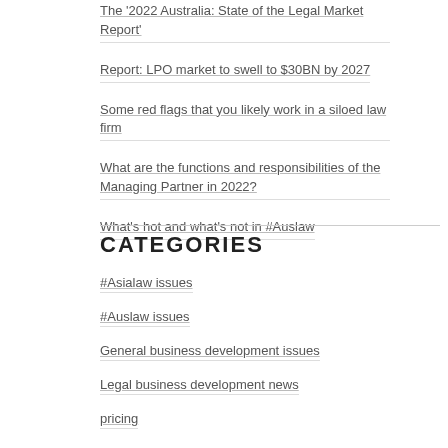The '2022 Australia: State of the Legal Market Report'
Report: LPO market to swell to $30BN by 2027
Some red flags that you likely work in a siloed law firm
What are the functions and responsibilities of the Managing Partner in 2022?
What's hot and what's not in #Auslaw
CATEGORIES
#Asialaw issues
#Auslaw issues
General business development issues
Legal business development news
pricing
Soundbites